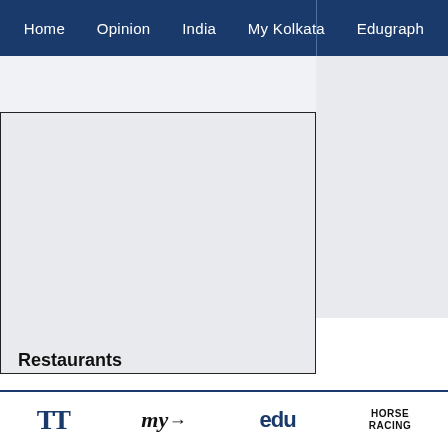Home | Opinion | India | My Kolkata | Edugraph
[Figure (other): Advertisement or image placeholder area with border, partially visible]
Restaurants
Appropriate distance between tables, minimal contact between servers and guests, QR code menu, QR code payment facilities and hygiene at all levels have been planned. “Safety, hygiene and social distancing norms will be followed throughout the hotel. Various training sessions have been conducted for the teams. Restaurant
TT | My Kolkata | edu | HORSE RACING